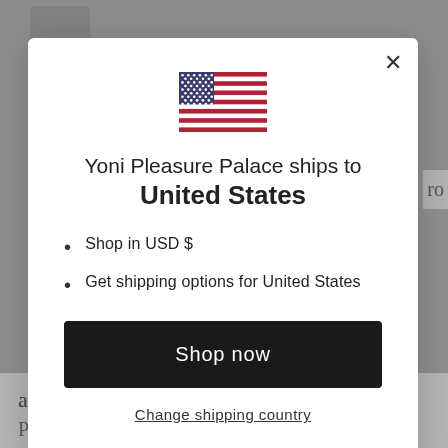[Figure (screenshot): Website modal dialog for Yoni Pleasure Palace shipping country selection, showing a US flag, heading, bullet points, a black Shop now button, and a Change shipping country link. Background shows a blurred e-commerce page with bottom text about Nephrite Jade Egg and Rose Quartz.]
Yoni Pleasure Palace ships to United States
Shop in USD $
Get shipping options for United States
Shop now
Change shipping country
as the Nephrite Jade Egg or the Rose Quartz Pl...